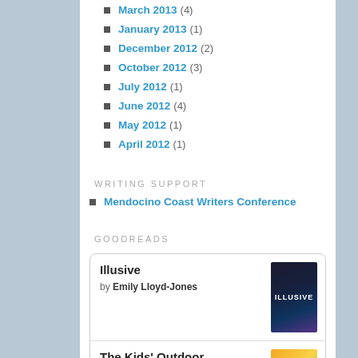March 2013 (4)
January 2013 (1)
December 2012 (2)
October 2012 (3)
July 2012 (1)
June 2012 (4)
May 2012 (1)
April 2012 (1)
WRITING SUPPORT
Mendocino Coast Writers Conference
GOODREADS
[Figure (other): Goodreads widget showing two books: 'Illusive' by Emily Lloyd-Jones and 'The Kids' Outdoor Adventure Book: 448 Great Things to Do']